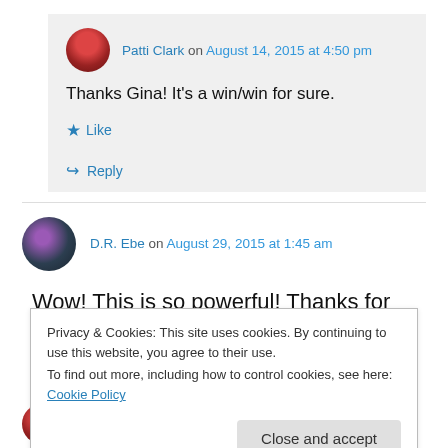Patti Clark on August 14, 2015 at 4:50 pm
Thanks Gina! It's a win/win for sure.
★ Like
↳ Reply
D.R. Ebe on August 29, 2015 at 1:45 am
Wow! This is so powerful! Thanks for leading me here with that “like” and “follow”
Privacy & Cookies: This site uses cookies. By continuing to use this website, you agree to their use.
To find out more, including how to control cookies, see here: Cookie Policy
Close and accept
Patti Clark on August 29, 2015 at 1:53 am